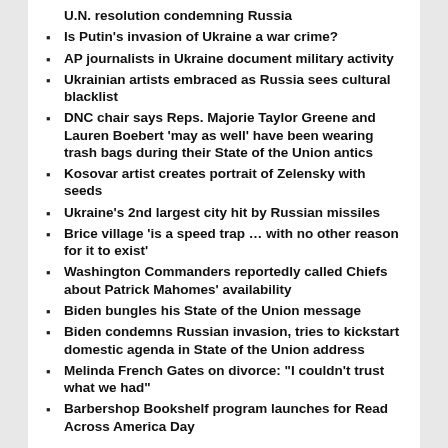U.N. resolution condemning Russia
Is Putin's invasion of Ukraine a war crime?
AP journalists in Ukraine document military activity
Ukrainian artists embraced as Russia sees cultural blacklist
DNC chair says Reps. Majorie Taylor Greene and Lauren Boebert 'may as well' have been wearing trash bags during their State of the Union antics
Kosovar artist creates portrait of Zelensky with seeds
Ukraine's 2nd largest city hit by Russian missiles
Brice village 'is a speed trap … with no other reason for it to exist'
Washington Commanders reportedly called Chiefs about Patrick Mahomes' availability
Biden bungles his State of the Union message
Biden condemns Russian invasion, tries to kickstart domestic agenda in State of the Union address
Melinda French Gates on divorce: "I couldn't trust what we had"
Barbershop Bookshelf program launches for Read Across America Day